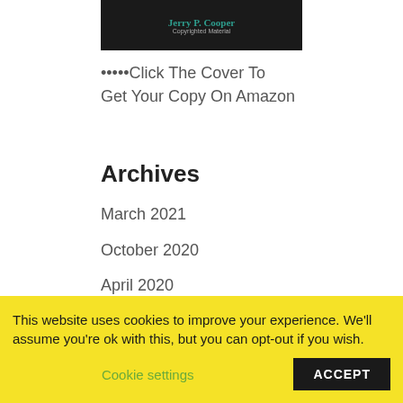[Figure (illustration): Book cover with dark background showing 'Jerry P. Cooper' in teal and 'Copyrighted Material' in small gray text]
•••••Click The Cover To
Get Your Copy On Amazon
Archives
March 2021
October 2020
April 2020
December 2019
October 2019
August 2019
March 2019
This website uses cookies to improve your experience. We'll assume you're ok with this, but you can opt-out if you wish.
Cookie settings    ACCEPT